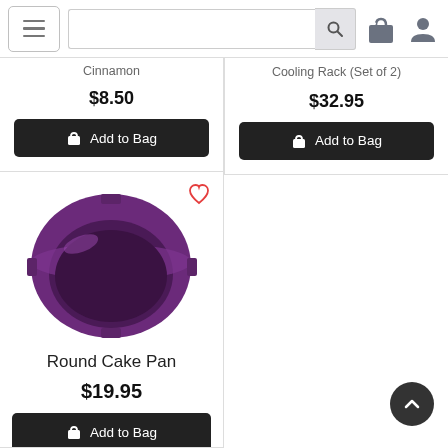[Figure (screenshot): E-commerce website navigation bar with hamburger menu, search bar with magnifying glass icon, shopping bag icon, and user/profile icon]
Cinnamon
$8.50
Add to Bag
Cooling Rack (Set of 2)
$32.95
Add to Bag
[Figure (photo): Round purple/dark violet baking cake pan viewed from above at slight angle, showing circular shape with thick sides]
Round Cake Pan
$19.95
Add to Bag